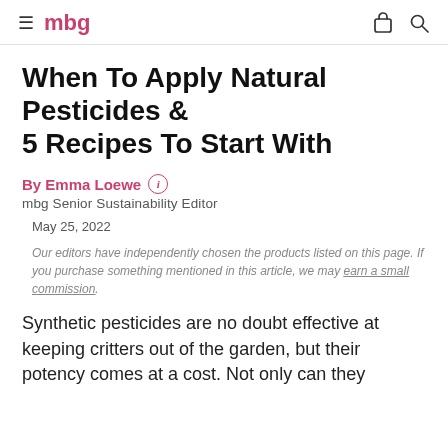mbg
When To Apply Natural Pesticides & 5 Recipes To Start With
By Emma Loewe
mbg Senior Sustainability Editor
May 25, 2022
Our editors have independently chosen the products listed on this page. If you purchase something mentioned in this article, we may earn a small commission.
Synthetic pesticides are no doubt effective at keeping critters out of the garden, but their potency comes at a cost. Not only can they